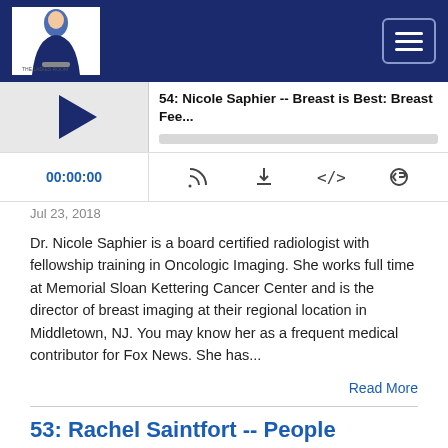[Figure (screenshot): Podcast website header with dark navy blue navigation bar containing a woman's photo logo on the left and hamburger menu icon on the right]
[Figure (screenshot): Podcast audio player showing episode 54: Nicole Saphier -- Breast is Best: Breast Fee... with play button, progress bar, time display 00:00:00 and control icons]
Jul 23, 2018
Dr. Nicole Saphier is a board certified radiologist with fellowship training in Oncologic Imaging. She works full time at Memorial Sloan Kettering Cancer Center and is the director of breast imaging at their regional location in Middletown, NJ. You may know her as a frequent medical contributor for Fox News. She has...
Read More
53: Rachel Saintfort -- People Magazine's Ms.100 Pounds